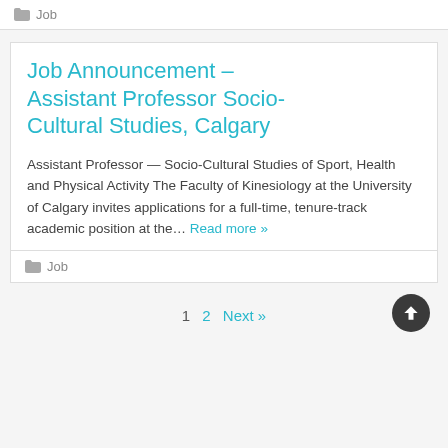Job
Job Announcement – Assistant Professor Socio-Cultural Studies, Calgary
Assistant Professor — Socio-Cultural Studies of Sport, Health and Physical Activity The Faculty of Kinesiology at the University of Calgary invites applications for a full-time, tenure-track academic position at the… Read more »
Job
1  2  Next »